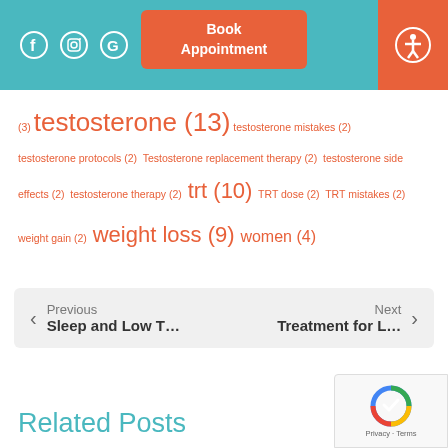Book Appointment | Social icons | Accessibility
(3) testosterone (13) testosterone mistakes (2) testosterone protocols (2) Testosterone replacement therapy (2) testosterone side effects (2) testosterone therapy (2) trt (10) TRT dose (2) TRT mistakes (2) weight gain (2) weight loss (9) women (4)
Previous
Sleep and Low T…

Next
Treatment for L…
Related Posts